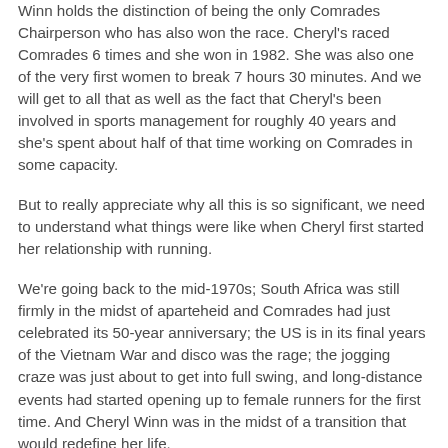Winn holds the distinction of being the only Comrades Chairperson who has also won the race. Cheryl's raced Comrades 6 times and she won in 1982. She was also one of the very first women to break 7 hours 30 minutes. And we will get to all that as well as the fact that Cheryl's been involved in sports management for roughly 40 years and she's spent about half of that time working on Comrades in some capacity.
But to really appreciate why all this is so significant, we need to understand what things were like when Cheryl first started her relationship with running.
We're going back to the mid-1970s; South Africa was still firmly in the midst of aparteheid and Comrades had just celebrated its 50-year anniversary; the US is in its final years of the Vietnam War and disco was the rage; the jogging craze was just about to get into full swing, and long-distance events had started opening up to female runners for the first time. And Cheryl Winn was in the midst of a transition that would redefine her life.